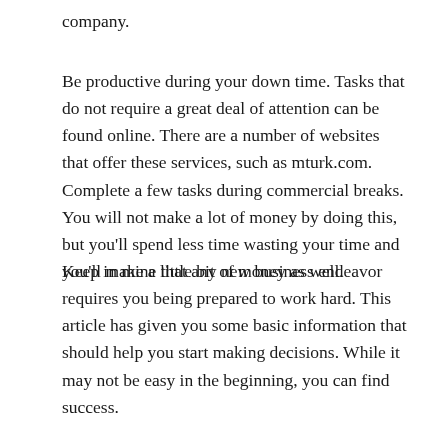company.
Be productive during your down time. Tasks that do not require a great deal of attention can be found online. There are a number of websites that offer these services, such as mturk.com. Complete a few tasks during commercial breaks. You will not make a lot of money by doing this, but you’ll spend less time wasting your time and you’ll make a little bit of money as well.
Keep in mine that any new business endeavor requires you being prepared to work hard. This article has given you some basic information that should help you start making decisions. While it may not be easy in the beginning, you can find success.